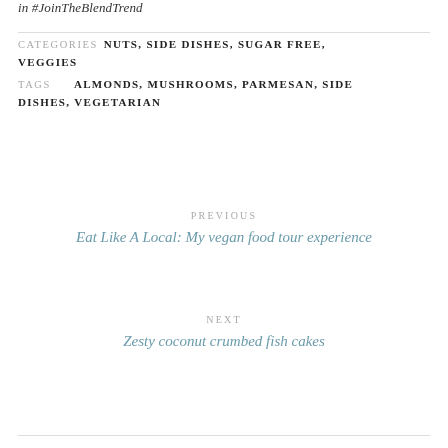in #JoinTheBlendTrend
CATEGORIES NUTS, SIDE DISHES, SUGAR FREE, VEGGIES
TAGS ALMONDS, MUSHROOMS, PARMESAN, SIDE DISHES, VEGETARIAN
PREVIOUS
Eat Like A Local: My vegan food tour experience
NEXT
Zesty coconut crumbed fish cakes